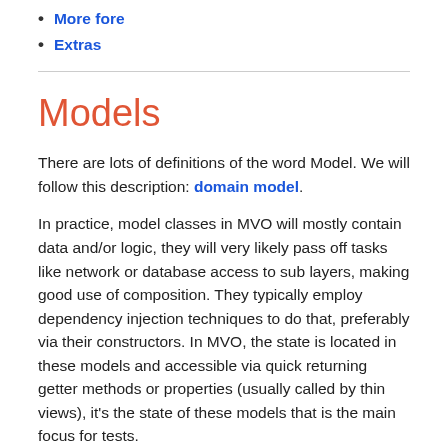More fore
Extras
Models
There are lots of definitions of the word Model. We will follow this description: domain model.
In practice, model classes in MVO will mostly contain data and/or logic, they will very likely pass off tasks like network or database access to sub layers, making good use of composition. They typically employ dependency injection techniques to do that, preferably via their constructors. In MVO, the state is located in these models and accessible via quick returning getter methods or properties (usually called by thin views), it's the state of these models that is the main focus for tests.